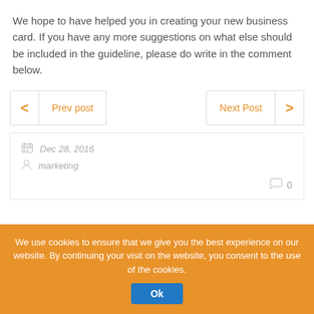We hope to have helped you in creating your new business card. If you have any more suggestions on what else should be included in the guideline, please do write in the comment below.
< Prev post   Next Post >
Dec 28, 2016
marketing
0
We use cookies to ensure that we give you the best experience on our website. By continuing your visit on the website, you consent to the use of the cookies. Ok